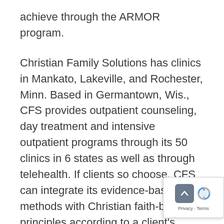achieve through the ARMOR program.
Christian Family Solutions has clinics in Mankato, Lakeville, and Rochester, Minn. Based in Germantown, Wis., CFS provides outpatient counseling, day treatment and intensive outpatient programs through its 50 clinics in 6 states as well as through telehealth. If clients so choose, CFS can integrate its evidence-based methods with Christian faith-based principles according to a client's needs.
[Figure (other): Privacy widget with scroll-to-top button and reCAPTCHA logo, showing Privacy and Terms links]